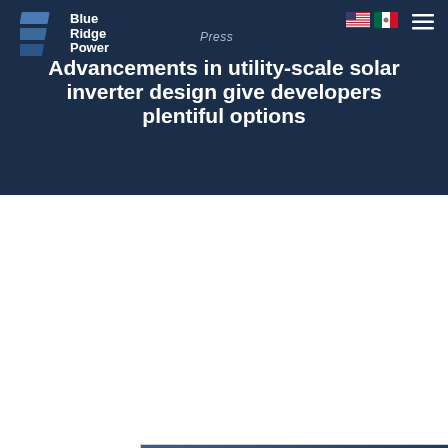Blue Ridge Power — Press
Advancements in utility-scale solar inverter design give developers plentiful options
[Figure (logo): Solar Power World publication logo — white bold text reading 'Solar' on large line, 'Power World' below, on a dark blue gradient background.]